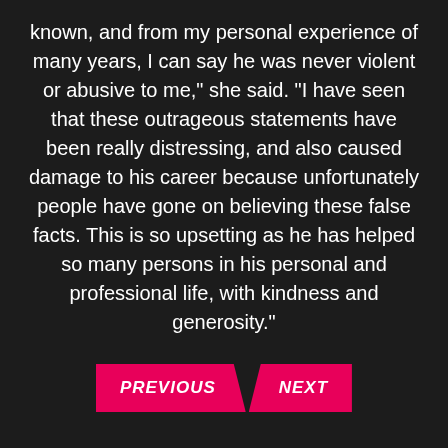known, and from my personal experience of many years, I can say he was never violent or abusive to me," she said. "I have seen that these outrageous statements have been really distressing, and also caused damage to his career because unfortunately people have gone on believing these false facts. This is so upsetting as he has helped so many persons in his personal and professional life, with kindness and generosity."
PREVIOUS  NEXT